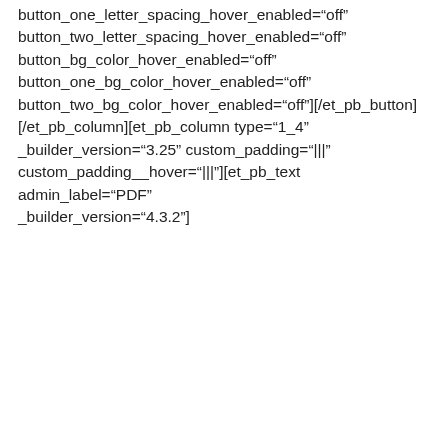button_one_letter_spacing_hover_enabled="off" button_two_letter_spacing_hover_enabled="off" button_bg_color_hover_enabled="off" button_one_bg_color_hover_enabled="off" button_two_bg_color_hover_enabled="off"][/et_pb_button][/et_pb_column][et_pb_column type="1_4" _builder_version="3.25" custom_padding="|||" custom_padding__hover="|||"][et_pb_text admin_label="PDF" _builder_version="4.3.2"]